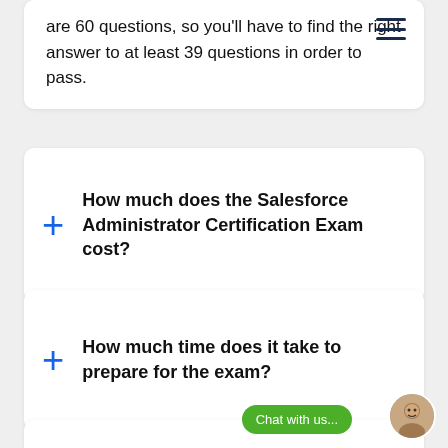are 60 questions, so you'll have to find the right answer to at least 39 questions in order to pass.
How much does the Salesforce Administrator Certification Exam cost?
How much time does it take to prepare for the exam?